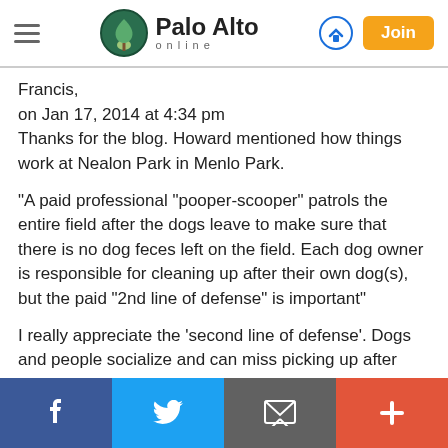Palo Alto online
Francis,
on Jan 17, 2014 at 4:34 pm
Thanks for the blog. Howard mentioned how things work at Nealon Park in Menlo Park.

"A paid professional "pooper-scooper" patrols the entire field after the dogs leave to make sure that there is no dog feces left on the field. Each dog owner is responsible for cleaning up after their own dog(s), but the paid "2nd line of defense" is important"

I really appreciate the 'second line of defense'. Dogs and people socialize and can miss picking up after their dogs. I had two dogs in LA and we went to what had become a de-facto dog park. Previously, the park was occupied by
Facebook | Twitter | Email | Plus